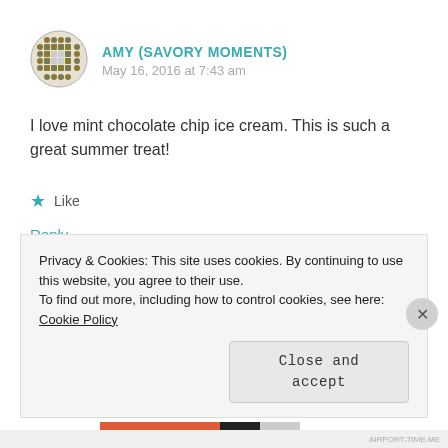[Figure (illustration): Circular mosaic-style avatar icon for Amy (Savory Moments)]
AMY (SAVORY MOMENTS)
May 16, 2016 at 7:43 am
I love mint chocolate chip ice cream. This is such a great summer treat!
Like
Reply →
[Figure (photo): Circular avatar photo for commenter Heather]
HEATHER
May 16, 2016 at 7:48
Privacy & Cookies: This site uses cookies. By continuing to use this website, you agree to their use. To find out more, including how to control cookies, see here: Cookie Policy
Close and accept